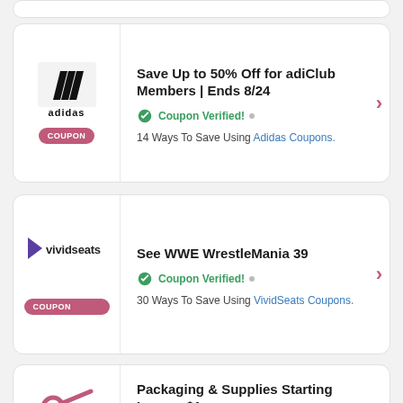[Figure (other): Partial coupon card at top of page (cropped)]
Save Up to 50% Off for adiClub Members | Ends 8/24
Coupon Verified! • 14 Ways To Save Using Adidas Coupons.
[Figure (logo): Adidas logo with COUPON badge]
See WWE WrestleMania 39
Coupon Verified! • 30 Ways To Save Using VividSeats Coupons.
[Figure (logo): VividSeats logo with COUPON badge]
Packaging & Supplies Starting Low as $1
Coupon Verified! • 12 Ways To Save Using...
[Figure (illustration): Scissors/coupon icon]